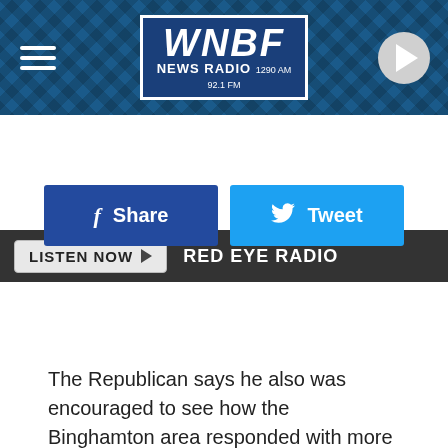[Figure (screenshot): WNBF News Radio header banner with logo, hamburger menu icon, and play button]
LISTEN NOW ▶  RED EYE RADIO
[Figure (screenshot): Facebook Share button and Twitter Tweet button]
The Republican says he also was encouraged to see how the Binghamton area responded with more even tempers than